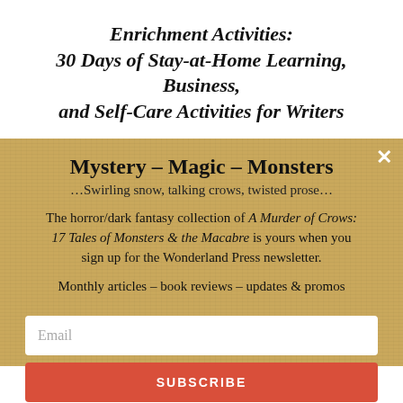Enrichment Activities: 30 Days of Stay-at-Home Learning, Business, and Self-Care Activities for Writers
Mystery – Magic – Monsters
…Swirling snow, talking crows, twisted prose…
The horror/dark fantasy collection of A Murder of Crows: 17 Tales of Monsters & the Macabre is yours when you sign up for the Wonderland Press newsletter.
Monthly articles – book reviews – updates & promos